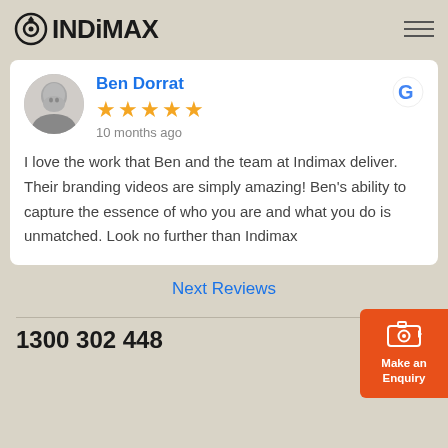INDiMAX
Ben Dorrat
★★★★★
10 months ago
I love the work that Ben and the team at Indimax deliver. Their branding videos are simply amazing! Ben's ability to capture the essence of who you are and what you do is unmatched. Look no further than Indimax
Next Reviews
1300 302 448
Make an Enquiry